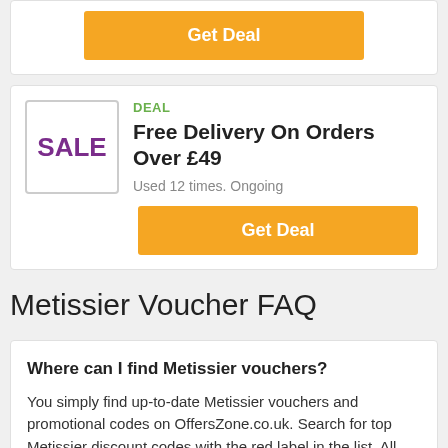[Figure (other): Orange 'Get Deal' button at top of page (partial card visible)]
DEAL
Free Delivery On Orders Over £49
Used 12 times.  Ongoing
[Figure (other): Orange 'Get Deal' button for the Free Delivery deal]
Metissier Voucher FAQ
Where can I find Metissier vouchers?
You simply find up-to-date Metissier vouchers and promotional codes on OffersZone.co.uk. Search for top Metissier discount codes with the red label in the list. All active promo codes are verified by our team and placed at the top of the list.